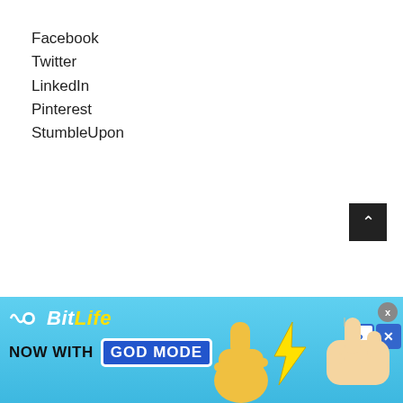Facebook
Twitter
LinkedIn
Pinterest
StumbleUpon
[Figure (screenshot): BitLife ad banner — 'NOW WITH GOD MODE' advertisement with light blue background, BitLife logo, yellow thumbs-up hand graphic, and pointing hand illustration. Includes close (X) and help (?) buttons.]